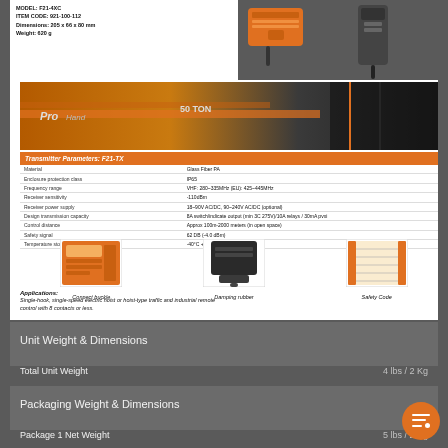MODEL: F21-4XC
ITEM CODE: 921-100-112
Dimensions: 205 x 66 x 80 mm
Weight: 620 g
[Figure (photo): Crane equipment / industrial remote control transmitter and receiver units, orange color]
[Figure (photo): Industrial overhead crane with orange beam, 50 TON label visible]
| Transmitter Parameters: F21-TX |  |
| --- | --- |
| Material | Glass Fiber PA |
| Enclosure protection class | IP65 |
| Frequency range | VHF: 280~335MHz (EU): 425~445MHz |
| Receiver sensitivity | -110dBm |
| Receiver power supply | 18~90V AC/DC, 90~240V AC/DC (optional) |
| Design transmission capacity | 8A switch/indicate output (min 3C 275V)/10A relays / 30mA pvxi |
| Control distance | Approx 100m-2000 meters (in open space) |
| Safety signal | 62 DB (-4.0 dBm) |
| Temperature storage range | -40°C + 85°C |
[Figure (photo): Connect buckle accessory - orange buckle component]
Connect buckle
[Figure (photo): Damping rubber - black rubber damping component]
Damping rubber
[Figure (photo): Safety Code card - orange and white booklet]
Safety Code
Applications:
Single-hook, single-speed electric hoist or hoist-type traffic and industrial remote control with 8 contacts or less.
Unit Weight & Dimensions
Total Unit Weight    4 lbs / 2 Kg
Packaging Weight & Dimensions
Package 1 Net Weight    5 lbs / 2 Kg